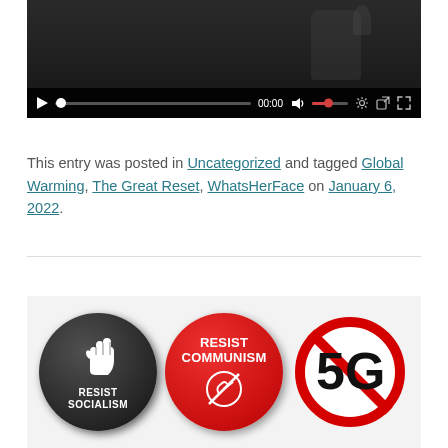[Figure (screenshot): Video player with dark background showing controls: play button, progress bar with white dot at start, 00:00 timestamp, volume icon with red volume bar, settings gear icon, external link icon, fullscreen icon]
This entry was posted in Uncategorized and tagged Global Warming, The Great Reset, WhatsHerFace on January 6, 2022.
[Figure (photo): Three circular badge pins side by side: 1) Black badge with raised fist and text 'RESIST SOCIALISM', 2) Red badge with text 'RESIST COMMUNISM' and crossed-out hammer-and-sickle symbol, 3) White/red badge with '5G' inside a red prohibition circle (crossed out)]